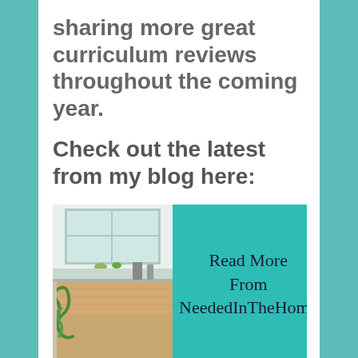sharing more great curriculum reviews throughout the coming year.
Check out the latest from my blog here:
[Figure (illustration): A teal/turquoise banner with a photo of a bright kitchen/homeschool room with a wooden table on the left side, and text 'Read More From NeededInTheHome' on the right side on teal background.]